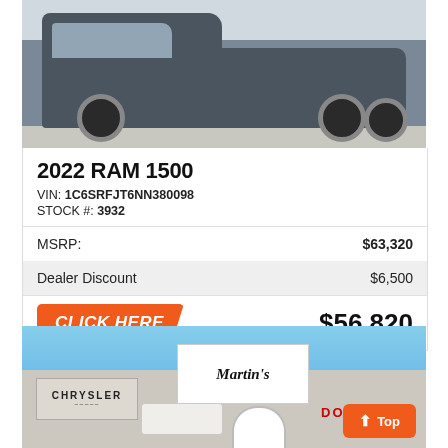[Figure (photo): 2022 RAM 1500 truck, dark gray, side view in parking lot]
2022 RAM 1500
VIN: 1C6SRFJT6NN380098
STOCK #: 3932
|  |  |
| --- | --- |
| MSRP: | $63,320 |
| Dealer Discount | $6,500 |
| CLICK HERE | $56,820 |
[Figure (photo): Martin's Chrysler Dodge dealership exterior, daytime, with blue sky]